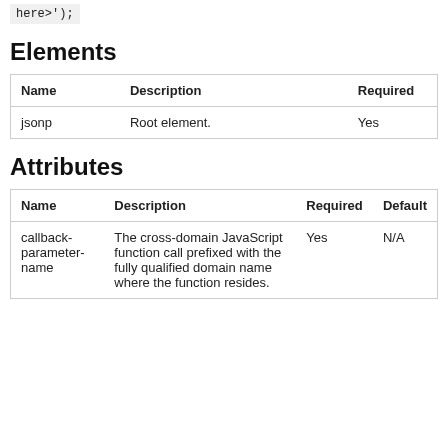here>');
Elements
| Name | Description | Required |
| --- | --- | --- |
| jsonp | Root element. | Yes |
Attributes
| Name | Description | Required | Default |
| --- | --- | --- | --- |
| callback-parameter-name | The cross-domain JavaScript function call prefixed with the fully qualified domain name where the function resides. | Yes | N/A |